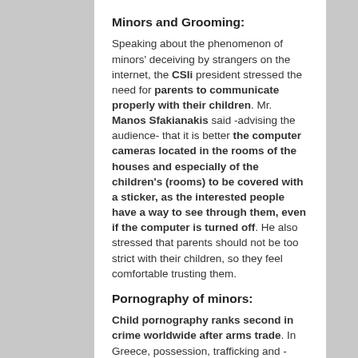Minors and Grooming:
Speaking about the phenomenon of minors' deceiving by strangers on the internet, the CSIi president stressed the need for parents to communicate properly with their children. Mr. Manos Sfakianakis said -advising the audience- that it is better the computer cameras located in the rooms of the houses and especially of the children's (rooms) to be covered with a sticker, as the interested people have a way to see through them, even if the computer is turned off. He also stressed that parents should not be too strict with their children, so they feel comfortable trusting them.
Pornography of minors:
Child pornography ranks second in crime worldwide after arms trade. In Greece, possession, trafficking and -under conditions- viewing child pornography files are punishable. However, Mr. Sfakianakis emphasized that the...